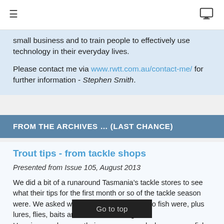≡  [monitor icon]
small business and to train people to effectively use technology in their everyday lives.
Please contact me via www.rwtt.com.au/contact-me/ for further information - Stephen Smith.
FROM THE ARCHIVES … (LAST CHANCE)
Trout tips - from tackle shops
Presented from Issue 105, August 2013
We did a bit of a runaround Tasmania's tackle stores to see what their tips for the first month or so of the tackle season were. We asked what the top three places to fish were, plus lures, flies, baits and a few other things.
Here is a rundown on their answers... and wherever you fish - anywhere, or for any fi... d - ask the locals